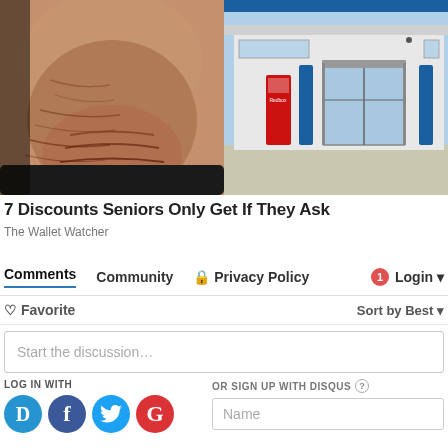[Figure (photo): Left half: close-up of an elderly person's heavily wrinkled face/chin. Right half: exterior of a retail store (Walmart-style) with blue pillars, glass doors, and a Redbox kiosk.]
7 Discounts Seniors Only Get If They Ask
The Wallet Watcher
[Figure (screenshot): Disqus comment section interface showing tabs: Comments (underlined in blue), Community, Privacy Policy (with lock icon), and Login button with red badge showing 1. Below: Favorite (heart icon) and Sort by Best dropdown. A text input field says 'Start the discussion…'. LOG IN WITH section with social icons (Disqus, Facebook, Twitter, Google). OR SIGN UP WITH DISQUS (?) label. Name input field.]